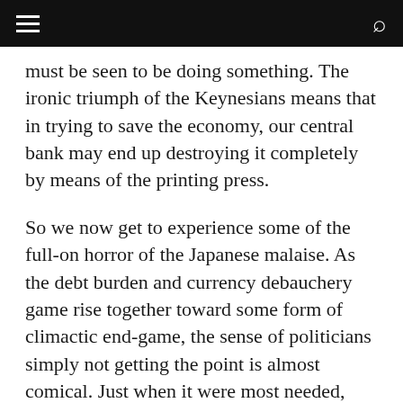[navigation bar with hamburger menu and search icon]
must be seen to be doing something. The ironic triumph of the Keynesians means that in trying to save the economy, our central bank may end up destroying it completely by means of the printing press.
So we now get to experience some of the full-on horror of the Japanese malaise. As the debt burden and currency debauchery game rise together toward some form of climactic end-game, the sense of politicians simply not getting the point is almost comical. Just when it were most needed, evidence of urgency from government is invisible.
So in a portfolio sense, we close all water-tight doors.